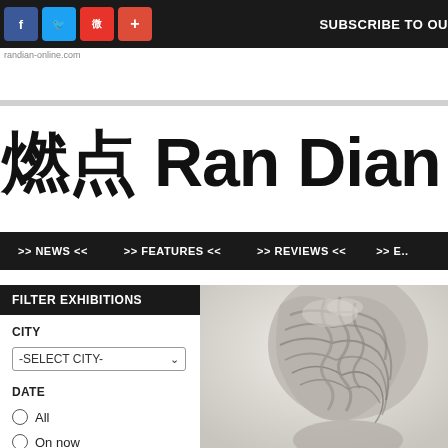SUBSCRIBE TO OU
燃点 Ran Dian
>> NEWS << >> FEATURES << >> REVIEWS << >> E..
FILTER EXHIBITIONS
CITY
-SELECT CITY-
DATE
All
On now
Upcoming
[Figure (photo): Close-up of a marble or stone sculpture showing detailed wavy hair texture, in grayscale tones]